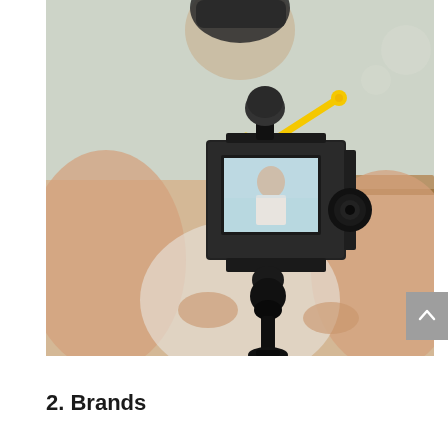[Figure (photo): A person recording themselves with a camera on a tripod/selfie stick. The camera has a yellow microphone mount and a microphone on top. The camera screen shows the person recording. The background is blurred showing an indoor setting.]
2. Brands